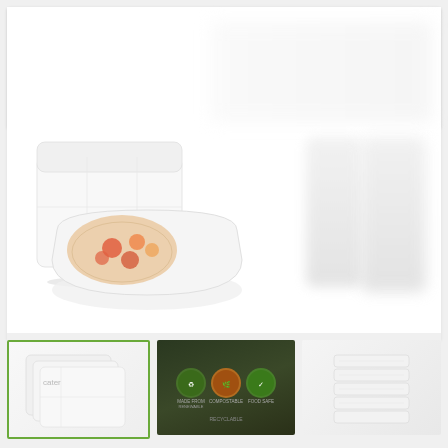[Figure (screenshot): Caterline sustainable packaging solutions website screenshot showing logo, navigation icons, main product image area with white food trays and a container with colorful food, and three thumbnail images at the bottom]
[Figure (logo): Caterline logo with green text and a fork/glass icon, tagline: SUSTAINABLE PACKAGING SOLUTIONS]